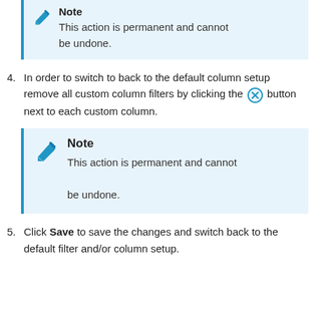Note
This action is permanent and cannot be undone.
4. In order to switch to back to the default column setup remove all custom column filters by clicking the [X] button next to each custom column.
Note
This action is permanent and cannot be undone.
5. Click Save to save the changes and switch back to the default filter and/or column setup.